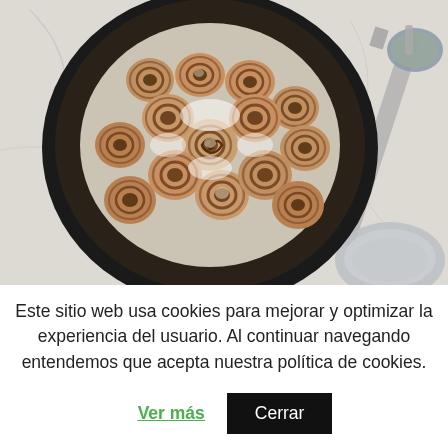[Figure (photo): Overhead view of a round dark baking pan filled with cinnamon rolls covered in white glaze/icing, set on a white marble surface. A knife and a small bowl are visible to the right of the pan.]
Este sitio web usa cookies para mejorar y optimizar la experiencia del usuario. Al continuar navegando entendemos que acepta nuestra política de cookies.
Ver más
Cerrar